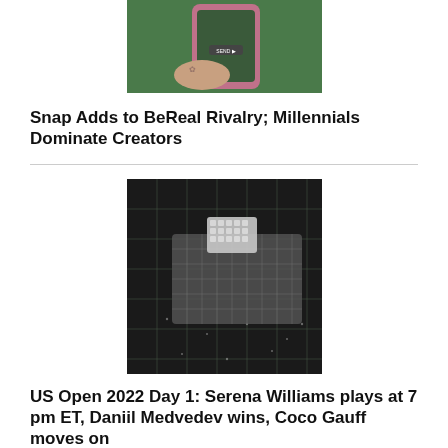[Figure (photo): Cropped image of a hand holding a pink-cased smartphone with greenery in the background, showing a 'SEND' button on screen]
Snap Adds to BeReal Rivalry; Millennials Dominate Creators
[Figure (photo): Close-up of a dark fabric with a grid cutting mat and a small square piece of sparkly or rhinestone-encrusted material on top]
US Open 2022 Day 1: Serena Williams plays at 7 pm ET, Daniil Medvedev wins, Coco Gauff moves on
[Figure (photo): Partial image of what appears to be a dark rounded object, cropped at the bottom of the page]